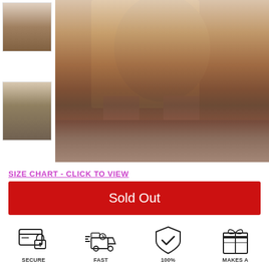[Figure (photo): Thumbnail image 1: woman wearing floral shorts and heels, cropped lower body view]
[Figure (photo): Thumbnail image 2: woman wearing floral outfit, full body side view]
[Figure (photo): Main product image: woman wearing colorful printed shorts set and clear heels, standing on wood floor]
SIZE CHART - CLICK TO VIEW
Sold Out
[Figure (infographic): Trust badges row: SECURE payment icon, FAST shipping icon, 100% guarantee shield icon, MAKES A gift box icon]